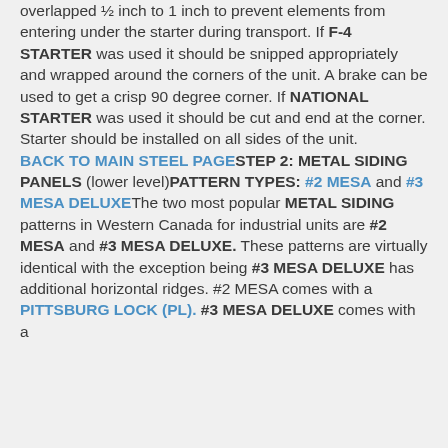overlapped ½ inch to 1 inch to prevent elements from entering under the starter during transport. If F-4 STARTER was used it should be snipped appropriately and wrapped around the corners of the unit. A brake can be used to get a crisp 90 degree corner. If NATIONAL STARTER was used it should be cut and end at the corner. Starter should be installed on all sides of the unit. BACK TO MAIN STEEL PAGESTEP 2: METAL SIDING PANELS (lower level)PATTERN TYPES: #2 MESA and #3 MESA DELUXEThe two most popular METAL SIDING patterns in Western Canada for industrial units are #2 MESA and #3 MESA DELUXE. These patterns are virtually identical with the exception being #3 MESA DELUXE has additional horizontal ridges. #2 MESA comes with a PITTSBURG LOCK (PL). #3 MESA DELUXE comes with a